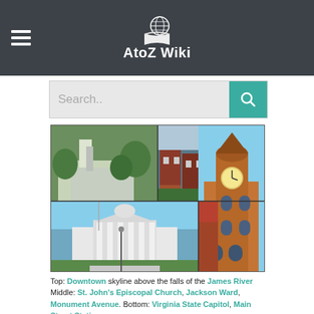AtoZ Wiki
[Figure (screenshot): Search bar with placeholder text 'Search..' and teal search button with magnifying glass icon]
[Figure (photo): Collage of Richmond, Virginia landmarks: Top left: downtown area with church/building; Top center: brick rowhouses; Top right: white statue pedestal close-up; Middle right: Main Street Station clock tower building; Bottom left/center: Virginia State Capitol white neoclassical building]
Top: Downtown skyline above the falls of the James River Middle: St. John's Episcopal Church, Jackson Ward, Monument Avenue. Bottom: Virginia State Capitol, Main Street Station
[Figure (photo): Blue flag with gold stars and figure, partially visible at bottom]